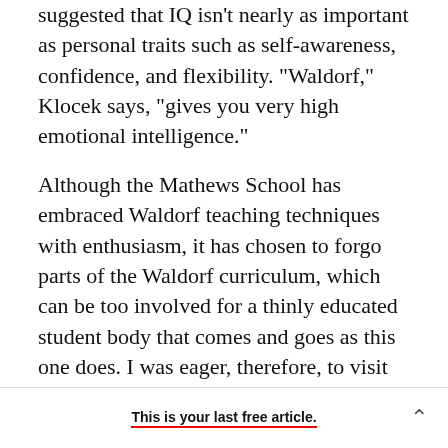suggested that IQ isn't nearly as important as personal traits such as self-awareness, confidence, and flexibility. "Waldorf," Klocek says, "gives you very high emotional intelligence."
Although the Mathews School has embraced Waldorf teaching techniques with enthusiasm, it has chosen to forgo parts of the Waldorf curriculum, which can be too involved for a thinly educated student body that comes and goes as this one does. I was eager, therefore, to visit some of the private Waldorf schools elsewhere in California and on the East Coast, where the full program has been
This is your last free article.